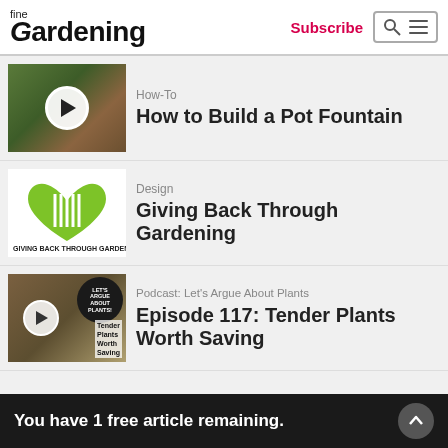fine Gardening | Subscribe
How-To
How to Build a Pot Fountain
Design
Giving Back Through Gardening
Podcast: Let's Argue About Plants
Episode 117: Tender Plants Worth Saving
You have 1 free article remaining.